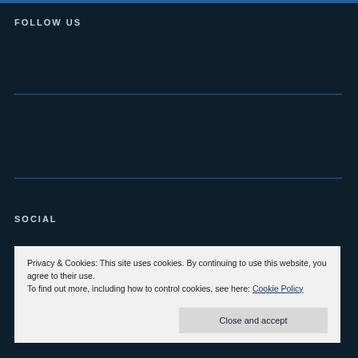FOLLOW US
SOCIAL
Privacy & Cookies: This site uses cookies. By continuing to use this website, you agree to their use.
To find out more, including how to control cookies, see here: Cookie Policy
Close and accept